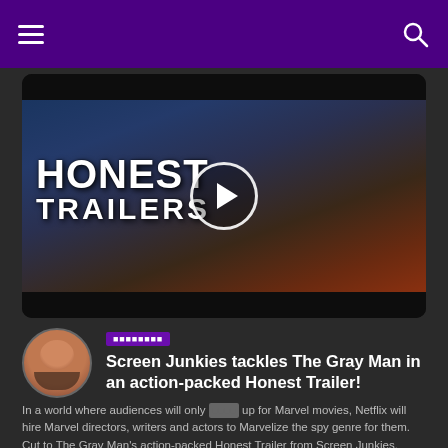Navigation bar with hamburger menu and search icon
[Figure (screenshot): Video thumbnail showing two men in action poses with text 'HONEST TRAILERS' overlaid and a play button circle in the center. Background shows a dark city scene.]
[Figure (photo): Circular avatar of a bearded man]
■■■■■■■■
Screen Junkies tackles The Gray Man in an action-packed Honest Trailer!
In a world where audiences will only ■■■■ up for Marvel movies, Netflix will hire Marvel directors, writers and actors to Marvelize the spy genre for them. Cut to The Gray Man's action-packed Honest Trailer from Screen Junkies, added ■■■■ rakshasa! The Gray Man is now